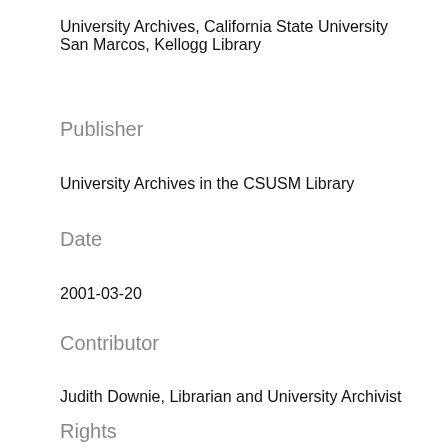University Archives, California State University San Marcos, Kellogg Library
Publisher
University Archives in the CSUSM Library
Date
2001-03-20
Contributor
Judith Downie, Librarian and University Archivist
Rights